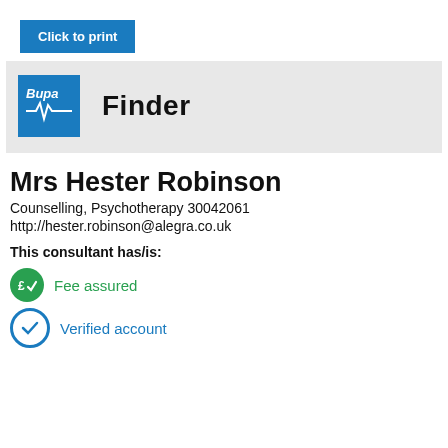[Figure (other): Blue 'Click to print' button]
[Figure (logo): Bupa logo with heartbeat line on blue background, next to bold 'Finder' text on grey background]
Mrs Hester Robinson
Counselling, Psychotherapy 30042061
http://hester.robinson@alegra.co.uk
This consultant has/is:
Fee assured
Verified account